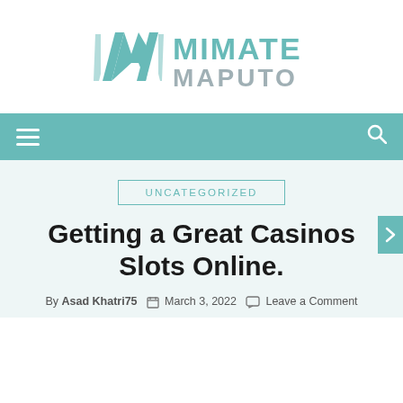[Figure (logo): Mimate Maputo logo with teal geometric M icon and text MIMATE MAPUTO in teal and grey]
Navigation bar with hamburger menu and search icon
UNCATEGORIZED
Getting a Great Casinos Slots Online.
By Asad Khatri75   March 3, 2022   Leave a Comment